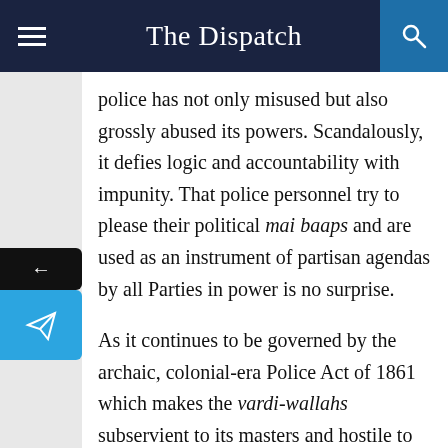The Dispatch
police has not only misused but also grossly abused its powers. Scandalously, it defies logic and accountability with impunity. That police personnel try to please their political mai baaps and are used as an instrument of partisan agendas by all Parties in power is no surprise.
As it continues to be governed by the archaic, colonial-era Police Act of 1861 which makes the vardi-wallahs subservient to its masters and hostile to the aam aadmi. Worse, this provides it